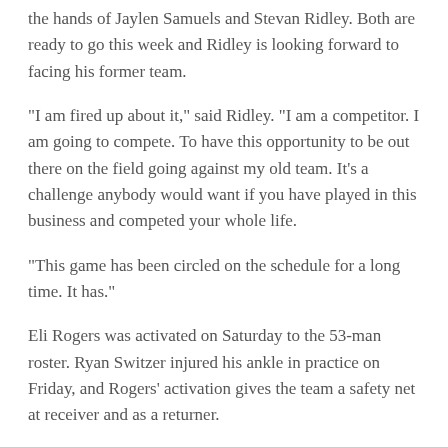the hands of Jaylen Samuels and Stevan Ridley. Both are ready to go this week and Ridley is looking forward to facing his former team.
"I am fired up about it," said Ridley. "I am a competitor. I am going to compete. To have this opportunity to be out there on the field going against my old team. It's a challenge anybody would want if you have played in this business and competed your whole life.
"This game has been circled on the schedule for a long time. It has."
Eli Rogers was activated on Saturday to the 53-man roster. Ryan Switzer injured his ankle in practice on Friday, and Rogers' activation gives the team a safety net at receiver and as a returner.
[Figure (other): Social sharing icons: Facebook, Twitter, Email, Link]